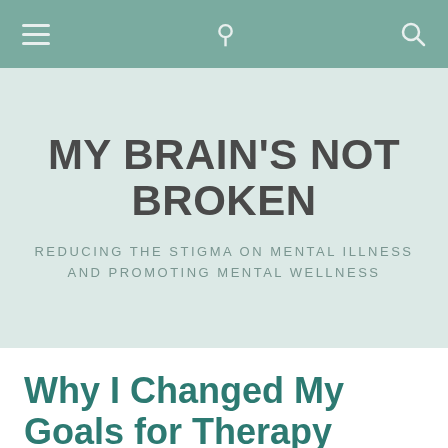MY BRAIN'S NOT BROKEN — Navigation bar with hamburger menu and search icon
MY BRAIN'S NOT BROKEN
REDUCING THE STIGMA ON MENTAL ILLNESS AND PROMOTING MENTAL WELLNESS
Why I Changed My Goals for Therapy